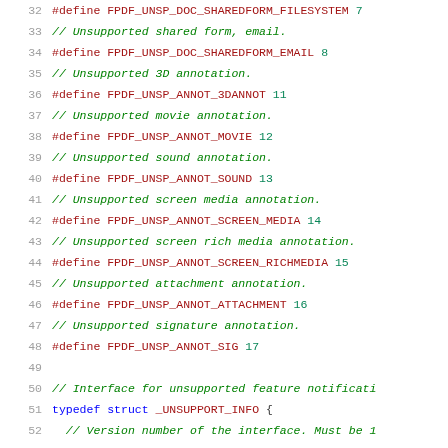32  #define FPDF_UNSP_DOC_SHAREDFORM_FILESYSTEM 7
33  // Unsupported shared form, email.
34  #define FPDF_UNSP_DOC_SHAREDFORM_EMAIL 8
35  // Unsupported 3D annotation.
36  #define FPDF_UNSP_ANNOT_3DANNOT 11
37  // Unsupported movie annotation.
38  #define FPDF_UNSP_ANNOT_MOVIE 12
39  // Unsupported sound annotation.
40  #define FPDF_UNSP_ANNOT_SOUND 13
41  // Unsupported screen media annotation.
42  #define FPDF_UNSP_ANNOT_SCREEN_MEDIA 14
43  // Unsupported screen rich media annotation.
44  #define FPDF_UNSP_ANNOT_SCREEN_RICHMEDIA 15
45  // Unsupported attachment annotation.
46  #define FPDF_UNSP_ANNOT_ATTACHMENT 16
47  // Unsupported signature annotation.
48  #define FPDF_UNSP_ANNOT_SIG 17
49
50  // Interface for unsupported feature notificati...
51  typedef struct _UNSUPPORT_INFO {
52    // Version number of the interface. Must be 1